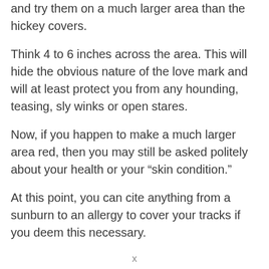and try them on a much larger area than the hickey covers.
Think 4 to 6 inches across the area. This will hide the obvious nature of the love mark and will at least protect you from any hounding, teasing, sly winks or open stares.
Now, if you happen to make a much larger area red, then you may still be asked politely about your health or your “skin condition.”
At this point, you can cite anything from a sunburn to an allergy to cover your tracks if you deem this necessary.
x